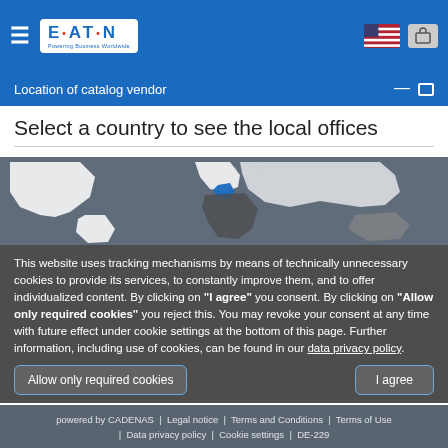EATON - Powering Business Worldwide
Location of catalog vendor
Select a country to see the local offices
[Figure (map): World map with highlighted region in blue (Europe area)]
This website uses tracking mechanisms by means of technically unnecessary cookies to provide its services, to constantly improve them, and to offer individualized content. By clicking on "I agree" you consent. By clicking on "Allow only required cookies" you reject this. You may revoke your consent at any time with future effect under cookie settings at the bottom of this page. Further information, including use of cookies, can be found in our data privacy policy.
powered by CADENAS | Legal notice | Terms and Conditions | Terms of Use | Data privacy policy | Cookie settings | DE-229